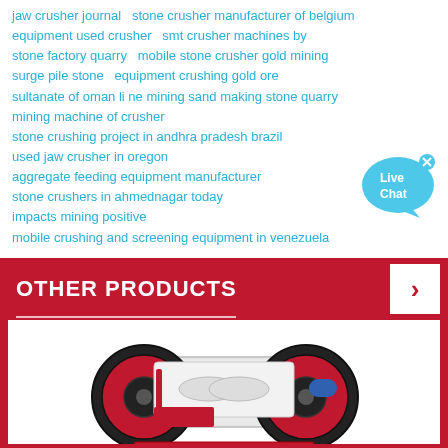jaw crusher journal  stone crusher manufacturer of belgium
equipment used crusher  smt crusher machines by
stone factory quarry  mobile stone crusher gold mining
surge pile stone  equipment crushing gold ore
sultanate of oman li ne mining sand making stone quarry
mining machine of crusher
stone crushing project in andhra pradesh brazil
used jaw crusher in oregon
aggregate feeding equipment manufacturer
stone crushers in ahmednagar today
impacts mining positive
mobile crushing and screening equipment in venezuela
[Figure (illustration): Live Chat bubble icon with blue speech bubble and text 'Live Chat']
OTHER PRODUCTS
[Figure (photo): Industrial jaw crusher machine with black wheels and red/white body on white background]